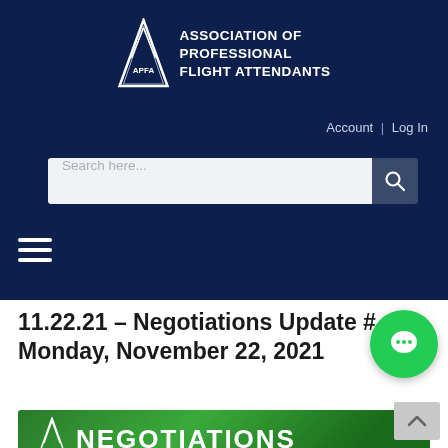[Figure (logo): APFA logo with triangle/arrow icon and text ASSOCIATION OF PROFESSIONAL FLIGHT ATTENDANTS on dark navy background]
Account | Log In
[Figure (screenshot): Search bar with placeholder text 'Search here...' and search icon button]
[Figure (other): Hamburger menu icon (three horizontal white lines)]
11.22.21 – Negotiations Update # Monday, November 22, 2021
[Figure (other): Green NEGOTIATIONS banner image with APFA triangle logo and text NEGOTIATIONS]